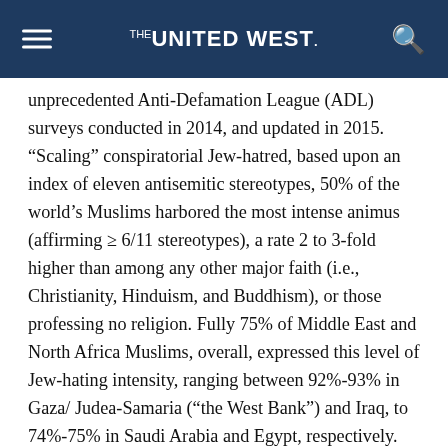THE UNITED WEST
unprecedented Anti-Defamation League (ADL) surveys conducted in 2014, and updated in 2015. “Scaling” conspiratorial Jew-hatred, based upon an index of eleven antisemitic stereotypes, 50% of the world’s Muslims harbored the most intense animus (affirming ≥ 6/11 stereotypes), a rate 2 to 3-fold higher than among any other major faith (i.e., Christianity, Hinduism, and Buddhism), or those professing no religion. Fully 75% of Middle East and North Africa Muslims, overall, expressed this level of Jew-hating intensity, ranging between 92%-93% in Gaza/ Judea-Samaria (“the West Bank”) and Iraq, to 74%-75% in Saudi Arabia and Egypt, respectively. Predictably, when queried, canonical Islamic Jew-hatred emerges as a critical etiologic factor in shaping these Muslim attitudes. Follow-up 2015 ADL data from Western European Muslims (an oversample of the